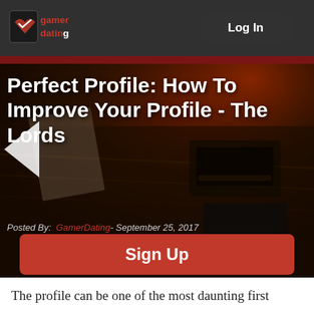Log In
[Figure (screenshot): GamerDating logo in top-left header]
Perfect Profile: How To Improve Your Profile - The Lords
Posted By:  GamerDating- September 25, 2017
Sign Up
The profile can be one of the most daunting first